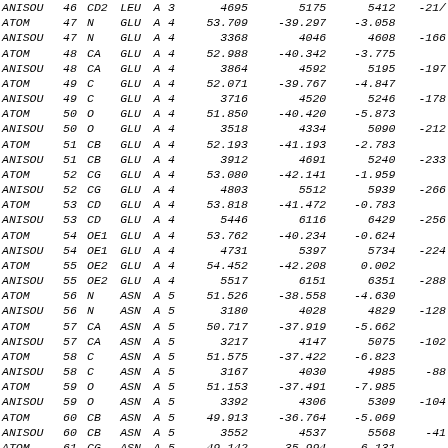| ANISOU | 46 | CD2 | LEU | A | 3 | 4695 | 5175 | 5412 | -21/ |
| ATOM | 47 | N | GLU | A | 4 | 53.709 | -39.297 | -3.058 |  |
| ANISOU | 47 | N | GLU | A | 4 | 3368 | 4046 | 4608 | -166 |
| ATOM | 48 | CA | GLU | A | 4 | 52.988 | -40.342 | -3.775 |  |
| ANISOU | 48 | CA | GLU | A | 4 | 3864 | 4592 | 5195 | -197 |
| ATOM | 49 | C | GLU | A | 4 | 52.071 | -39.767 | -4.847 |  |
| ANISOU | 49 | C | GLU | A | 4 | 3716 | 4520 | 5246 | -178 |
| ATOM | 50 | O | GLU | A | 4 | 51.850 | -40.420 | -5.873 |  |
| ANISOU | 50 | O | GLU | A | 4 | 3518 | 4334 | 5090 | -212 |
| ATOM | 51 | CB | GLU | A | 4 | 52.193 | -41.193 | -2.783 |  |
| ANISOU | 51 | CB | GLU | A | 4 | 3912 | 4691 | 5240 | -233 |
| ATOM | 52 | CG | GLU | A | 4 | 53.080 | -42.141 | -1.959 |  |
| ANISOU | 52 | CG | GLU | A | 4 | 4803 | 5512 | 5939 | -266 |
| ATOM | 53 | CD | GLU | A | 4 | 53.818 | -41.472 | -0.783 |  |
| ANISOU | 53 | CD | GLU | A | 4 | 5446 | 6116 | 6429 | -256 |
| ATOM | 54 | OE1 | GLU | A | 4 | 53.762 | -40.234 | -0.624 |  |
| ANISOU | 54 | OE1 | GLU | A | 4 | 4731 | 5397 | 5734 | -224 |
| ATOM | 55 | OE2 | GLU | A | 4 | 54.452 | -42.208 | 0.002 |  |
| ANISOU | 55 | OE2 | GLU | A | 4 | 5517 | 6151 | 6351 | -288 |
| ATOM | 56 | N | ASN | A | 5 | 51.526 | -38.558 | -4.630 |  |
| ANISOU | 56 | N | ASN | A | 5 | 3180 | 4028 | 4829 | -128 |
| ATOM | 57 | CA | ASN | A | 5 | 50.717 | -37.919 | -5.662 |  |
| ANISOU | 57 | CA | ASN | A | 5 | 3217 | 4147 | 5075 | -102 |
| ATOM | 58 | C | ASN | A | 5 | 51.575 | -37.422 | -6.823 |  |
| ANISOU | 58 | C | ASN | A | 5 | 3167 | 4030 | 4985 | -88 |
| ATOM | 59 | O | ASN | A | 5 | 51.153 | -37.491 | -7.985 |  |
| ANISOU | 59 | O | ASN | A | 5 | 3392 | 4306 | 5309 | -104 |
| ATOM | 60 | CB | ASN | A | 5 | 49.913 | -36.764 | -5.069 |  |
| ANISOU | 60 | CB | ASN | A | 5 | 3552 | 4537 | 5568 | -41 |
| ATOM | 61 | CG | ASN | A | 5 | 49.142 | -35.994 | -6.131 |  |